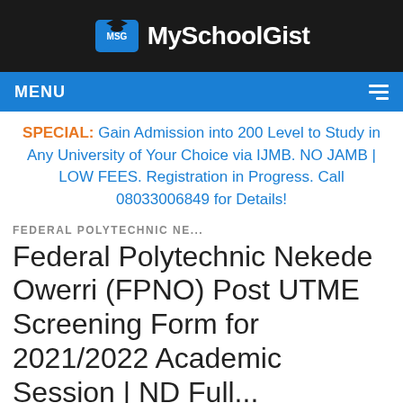[Figure (logo): MySchoolGist logo with graduation cap icon on dark background]
MENU
SPECIAL: Gain Admission into 200 Level to Study in Any University of Your Choice via IJMB. NO JAMB | LOW FEES. Registration in Progress. Call 08033006849 for Details!
FEDERAL POLYTECHNIC NE...
Federal Polytechnic Nekede Owerri (FPNO) Post UTME Screening Form for 2021/2022 Academic Session | ND Full...